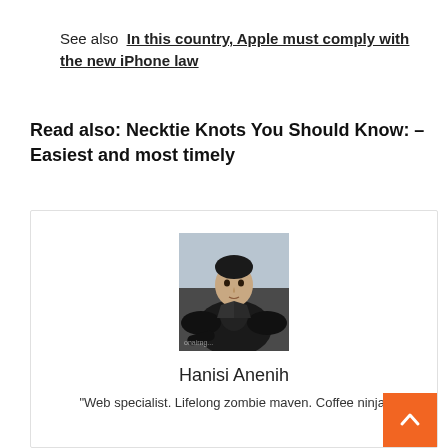See also  In this country, Apple must comply with the new iPhone law
Read also: Necktie Knots You Should Know: – Easiest and most timely
[Figure (photo): Author photo of Hanisi Anenih — a man in a black suit sitting/posing, dark background]
Hanisi Anenih
"Web specialist. Lifelong zombie maven. Coffee ninja.